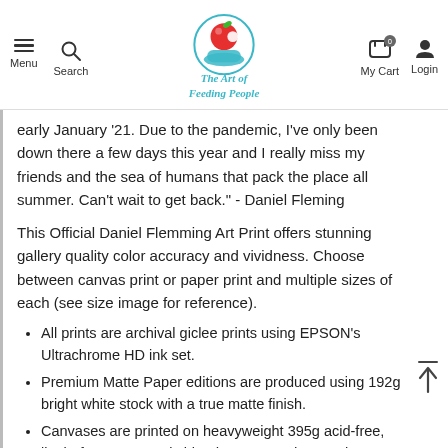Menu | Search | The Art of Feeding People | My Cart | Login
early January '21. Due to the pandemic, I've only been down there a few days this year and I really miss my friends and the sea of humans that pack the place all summer. Can't wait to get back." - Daniel Fleming
This Official Daniel Flemming Art Print offers stunning gallery quality color accuracy and vividness. Choose between canvas print or paper print and multiple sizes of each (see size image for reference).
All prints are archival giclee prints using EPSON's Ultrachrome HD ink set.
Premium Matte Paper editions are produced using 192g bright white stock with a true matte finish.
Canvases are printed on heavyweight 395g acid-free, lignin-free cotton-poly blend canvas and I coat them